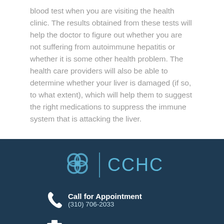blood test when you are visiting the health clinic. The results obtained from these tests will help the doctor to figure out whether you are not suffering from autoimmune hepatitis or whether it is some other health problem. The health care providers will also be able to determine whether your liver is damaged (if so, to what extent), which will help them to suggest the right medications to suppress the immune system that is attacking the liver.
[Figure (logo): CCHC logo with flower/clover icon and stylized text 'CCHC' in light blue]
Call for Appointment
(310) 706-2033
Fax